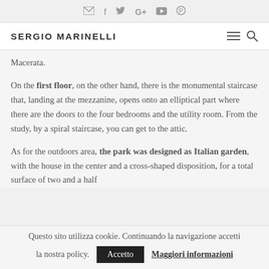✉ f 𝕏 G+ ▶ ⊕
SERGIO MARINELLI
Macerata.
On the first floor, on the other hand, there is the monumental staircase that, landing at the mezzanine, opens onto an elliptical part where there are the doors to the four bedrooms and the utility room. From the study, by a spiral staircase, you can get to the attic.
As for the outdoors area, the park was designed as Italian garden, with the house in the center and a cross-shaped disposition, for a total surface of two and a half
Questo sito utilizza cookie. Continuando la navigazione accetti la nostra policy. Accetto Maggiori informazioni